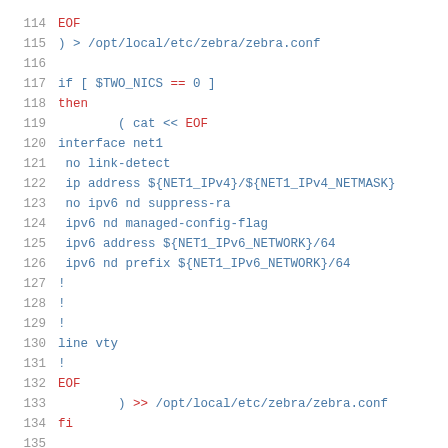[Figure (screenshot): Code listing showing shell script lines 114-135 with line numbers. Red-colored keywords include EOF, if, then, EOF, >>, fi. Blue-colored code includes shell commands and network configuration lines for zebra/zebra.conf.]